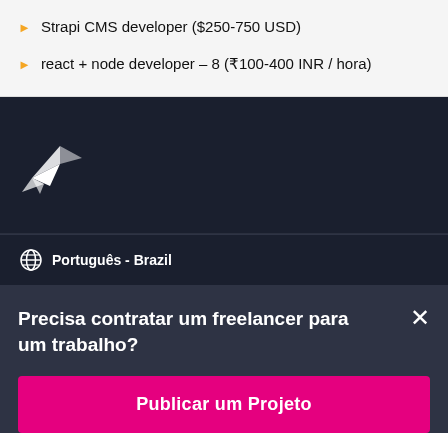Strapi CMS developer ($250-750 USD)
react + node developer – 8 (₹100-400 INR / hora)
[Figure (logo): Freelancer hummingbird logo in white on dark navy background]
Português - Brazil
Precisa contratar um freelancer para um trabalho?
Publicar um Projeto